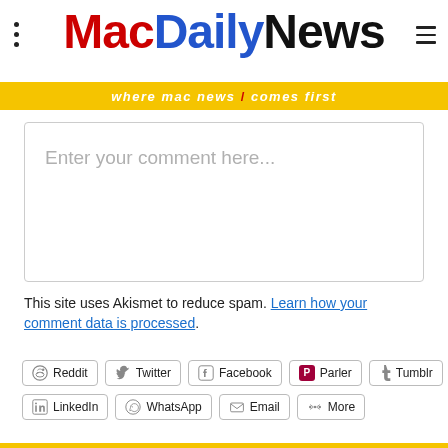MacDailyNews — where mac news comes first
[Figure (screenshot): Comment text input box with placeholder text 'Enter your comment here...']
This site uses Akismet to reduce spam. Learn how your comment data is processed.
[Figure (infographic): Social share buttons: Reddit, Twitter, Facebook, Parler, Tumblr, LinkedIn, WhatsApp, Email, More]
Privacy & Cookies: This site uses cookies. By continuing to use this website, you agree to their use. To find out more, including how to control cookies, see here: Cookie Policy
[Figure (screenshot): Close and accept button for cookie notice]